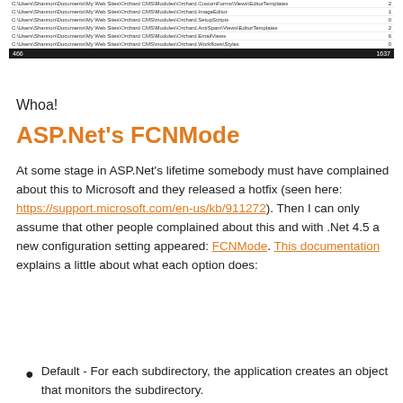[Figure (screenshot): Screenshot of a file listing table with paths and numbers, with a dark footer row showing totals 466 and 1637]
Whoa!
ASP.Net's FCNMode
At some stage in ASP.Net's lifetime somebody must have complained about this to Microsoft and they released a hotfix (seen here: https://support.microsoft.com/en-us/kb/911272). Then I can only assume that other people complained about this and with .Net 4.5 a new configuration setting appeared: FCNMode. This documentation explains a little about what each option does:
Default - For each subdirectory, the application creates an object that monitors the subdirectory.